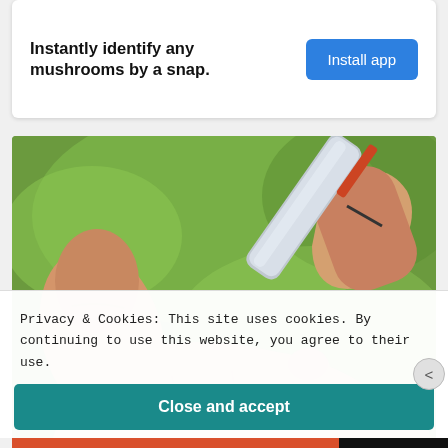Instantly identify any mushrooms by a snap.
Install app
[Figure (photo): Close-up photo of a medical lancet device being used to prick a finger for blood glucose testing, with a green blurred background outdoors.]
Privacy & Cookies: This site uses cookies. By continuing to use this website, you agree to their use.
To find out more, including how to control cookies, see here: Cookie Policy
Close and accept